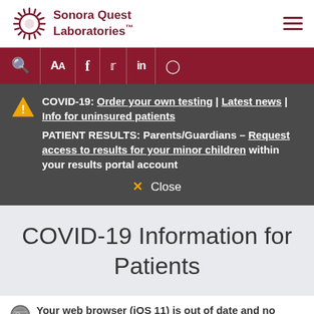[Figure (logo): Sonora Quest Laboratories logo with circular sun-like emblem and dark red text]
[Figure (screenshot): Navigation bar with search, font size, Facebook, Twitter, LinkedIn, Instagram icons on dark red background]
COVID-19: Order your own testing | Latest news | Info for uninsured patients PATIENT RESULTS: Parents/Guardians – Request access to results for your minor children within your results portal account
✕ Close
COVID-19 Information for Patients
Your web browser (iOS 11) is out of date and no longer supported. Update your browser for the best experience on this site.
SonoraQuestlaboratories' top priority is always the health and safety of our patients, employees,
Update browser